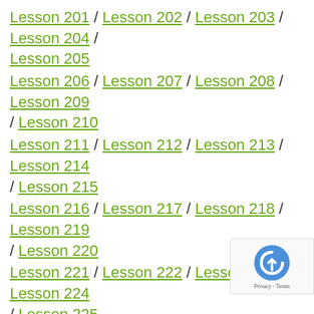Lesson 201 / Lesson 202 / Lesson 203 / Lesson 204 / Lesson 205
Lesson 206 / Lesson 207 / Lesson 208 / Lesson 209 / Lesson 210
Lesson 211 / Lesson 212 / Lesson 213 / Lesson 214 / Lesson 215
Lesson 216 / Lesson 217 / Lesson 218 / Lesson 219 / Lesson 220
Lesson 221 / Lesson 222 / Lesson 223 / Lesson 224 / Lesson 225
Lesson 226 / Lesson 227 / Lesson 228 / Lesson 229 / Lesson 230
Lesson 231 / Lesson 232 / Lesson 233 / Lesson 234 / Lesson 235
Lesson 236 / Lesson 237 / Lesson 238 / Lesson 239 / Lesson 240
Lesson 241 / Lesson 242 / Lesson 243 / Lesson 244